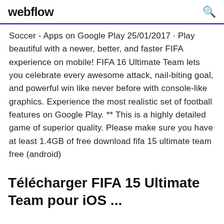webflow
Soccer - Apps on Google Play 25/01/2017 · Play beautiful with a newer, better, and faster FIFA experience on mobile! FIFA 16 Ultimate Team lets you celebrate every awesome attack, nail-biting goal, and powerful win like never before with console-like graphics. Experience the most realistic set of football features on Google Play. ** This is a highly detailed game of superior quality. Please make sure you have at least 1.4GB of free download fifa 15 ultimate team free (android)
Télécharger FIFA 15 Ultimate Team pour iOS ...